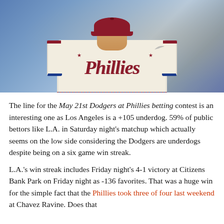[Figure (photo): Philadelphia Phillies baseball player wearing a cream/white Phillies jersey with red script lettering and blue/red trim, photographed from chest up with a blurred crowd background.]
The line for the May 21st Dodgers at Phillies betting contest is an interesting one as Los Angeles is a +105 underdog. 59% of public bettors like L.A. in Saturday night's matchup which actually seems on the low side considering the Dodgers are underdogs despite being on a six game win streak.
L.A.'s win streak includes Friday night's 4-1 victory at Citizens Bank Park on Friday night as -136 favorites. That was a huge win for the simple fact that the Phillies took three of four last weekend at Chavez Ravine. Does that